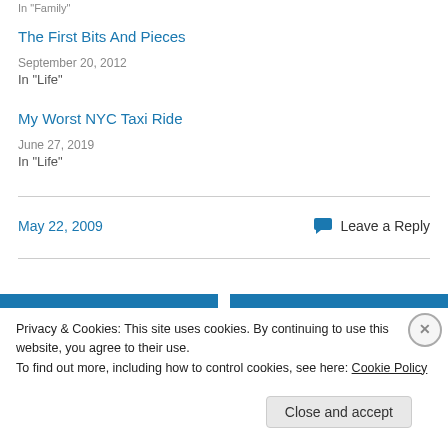In "Family"
The First Bits And Pieces
September 20, 2012
In "Life"
My Worst NYC Taxi Ride
June 27, 2019
In "Life"
May 22, 2009
Leave a Reply
Privacy & Cookies: This site uses cookies. By continuing to use this website, you agree to their use.
To find out more, including how to control cookies, see here: Cookie Policy
Close and accept